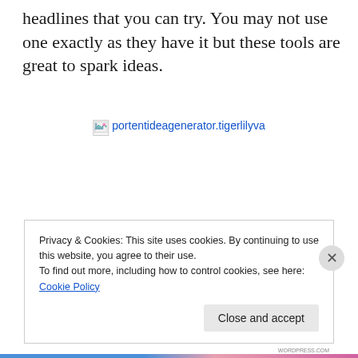headlines that you can try. You may not use one exactly as they have it but these tools are great to spark ideas.
[Figure (other): Broken image placeholder with link text: portentideagenerator.tigerlilyva]
Privacy & Cookies: This site uses cookies. By continuing to use this website, you agree to their use.
To find out more, including how to control cookies, see here: Cookie Policy
Close and accept